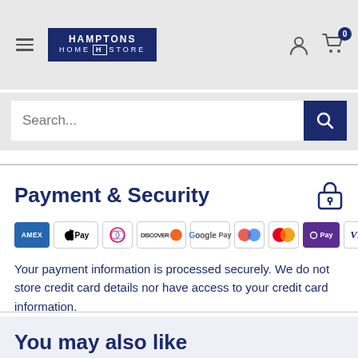Hamptons Home Store — navigation header with search bar
Payment & Security
[Figure (other): Payment method icons: American Express, Apple Pay, Diners Club, Discover, Google Pay, Shop Pay, Mastercard, OPay, Visa]
Your payment information is processed securely. We do not store credit card details nor have access to your credit card information.
You may also like